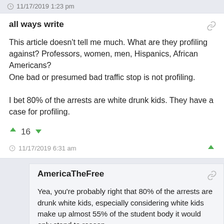11/17/2019 1:23 pm
all ways write
This article doesn't tell me much. What are they profiling against? Professors, women, men, Hispanics, African Americans?
One bad or presumed bad traffic stop is not profiling.

I bet 80% of the arrests are white drunk kids. They have a case for profiling.
16
11/17/2019 6:31 am
AmericaTheFree
Yea, you're probably right that 80% of the arrests are drunk white kids, especially considering white kids make up almost 55% of the student body it would only stand to reason.